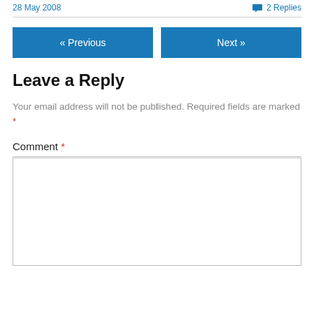28 May 2008    2 Replies
« Previous    Next »
Leave a Reply
Your email address will not be published. Required fields are marked *
Comment *